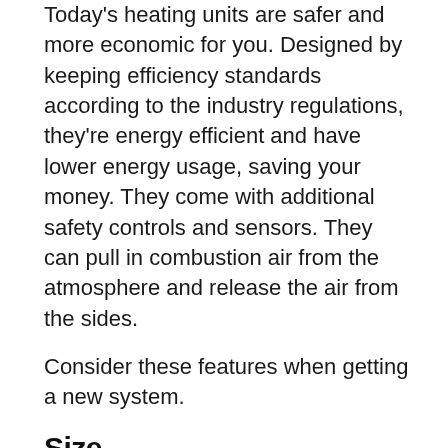Today's heating units are safer and more economic for you. Designed by keeping efficiency standards according to the industry regulations, they're energy efficient and have lower energy usage, saving your money. They come with additional safety controls and sensors. They can pull in combustion air from the atmosphere and release the air from the sides.
Consider these features when getting a new system.
Size
Getting the right sized unit is crucial as it defines the heat that's put out. The system's size matters for efficiency, consistency, functioning, noise levels, comfort and costs of heating up your place.